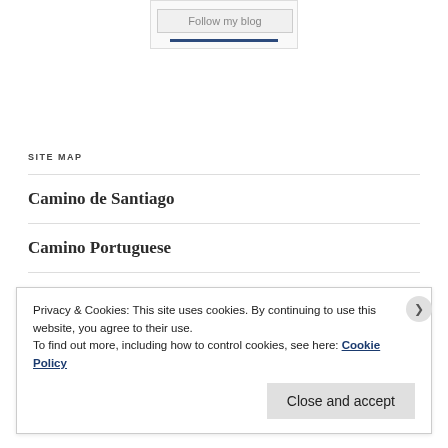[Figure (other): Follow my blog widget box with a button labeled 'Follow my blog' and a blue underline bar]
SITE MAP
Camino de Santiago
Camino Portuguese
Charity
Cycle mad
Privacy & Cookies: This site uses cookies. By continuing to use this website, you agree to their use.
To find out more, including how to control cookies, see here: Cookie Policy
Close and accept